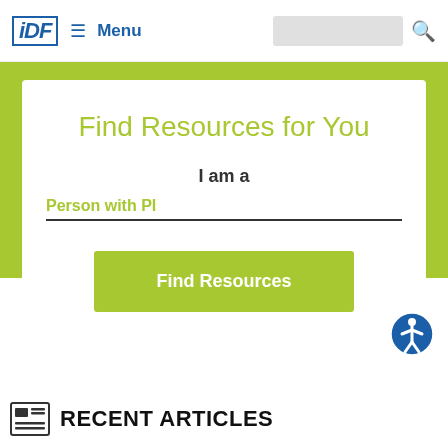IDF ≡ Menu
Find Resources for You
I am a
Person with PI
Find Resources
RECENT ARTICLES